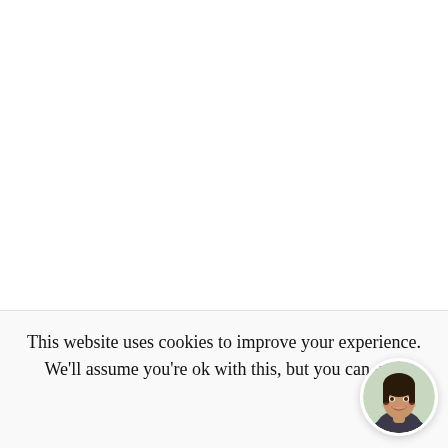This website uses cookies to improve your experience. We'll assume you're ok with this, but you can opt-out if
[Figure (photo): Circular avatar photo of a smiling young woman with dark hair, positioned in the lower-right corner of the cookie consent banner]